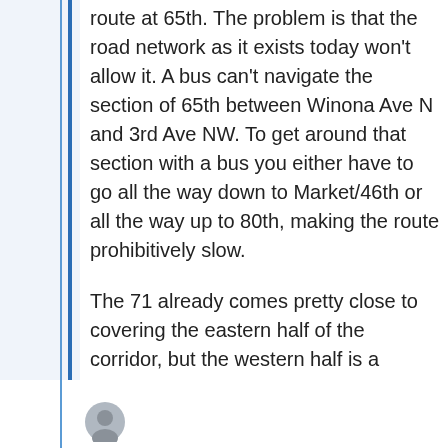route at 65th. The problem is that the road network as it exists today won't allow it. A bus can't navigate the section of 65th between Winona Ave N and 3rd Ave NW. To get around that section with a bus you either have to go all the way down to Market/46th or all the way up to 80th, making the route prohibitively slow.
The 71 already comes pretty close to covering the eastern half of the corridor, but the western half is a problem.
[Figure (illustration): User avatar icon — circular gray silhouette at bottom of page]